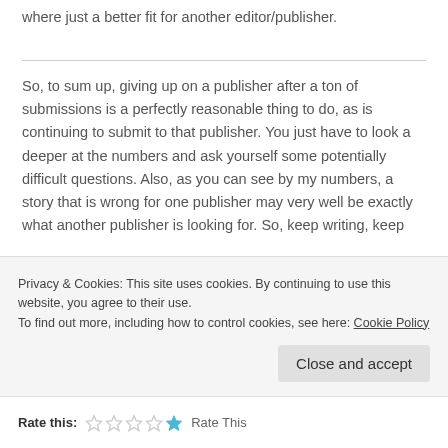where just a better fit for another editor/publisher.
So, to sum up, giving up on a publisher after a ton of submissions is a perfectly reasonable thing to do, as is continuing to submit to that publisher. You just have to look a deeper at the numbers and ask yourself some potentially difficult questions. Also, as you can see by my numbers, a story that is wrong for one publisher may very well be exactly what another publisher is looking for. So, keep writing, keep
Privacy & Cookies: This site uses cookies. By continuing to use this website, you agree to their use.
To find out more, including how to control cookies, see here: Cookie Policy
Close and accept
Rate this: